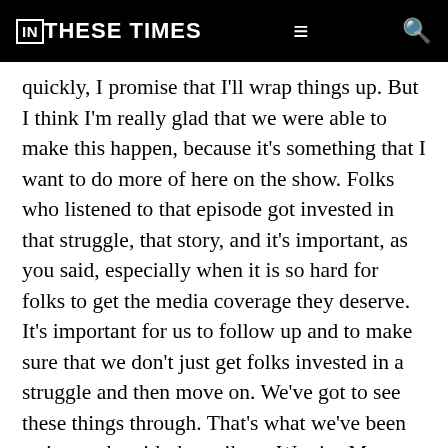IN THESE TIMES
quickly, I promise that I'll wrap things up. But I think I'm really glad that we were able to make this happen, because it's something that I want to do more of here on the show. Folks who listened to that episode got invested in that struggle, that story, and it's important, as you said, especially when it is so hard for folks to get the media coverage they deserve. It's important for us to follow up and to make sure that we don't just get folks invested in a struggle and then move on. We've got to see these things through. That's what we've been trying to do with the strike at Warrior Met Coal. It's what we tried to do last year, and we've actually got a follow up coming, on the struggles of farmers in Wisconsin fighting against the factory farming industry. So it's